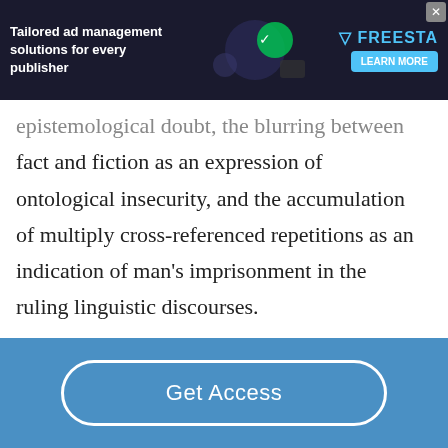[Figure (screenshot): Advertisement banner for Freesta tailored ad management solutions for publishers, dark background with colorful graphic elements]
epistemological doubt, the blurring between fact and fiction as an expression of ontological insecurity, and the accumulation of multiply cross-referenced repetitions as an indication of man's imprisonment in the ruling linguistic discourses.
Peter Freese  in Kurt Vonnegut's
Get Access